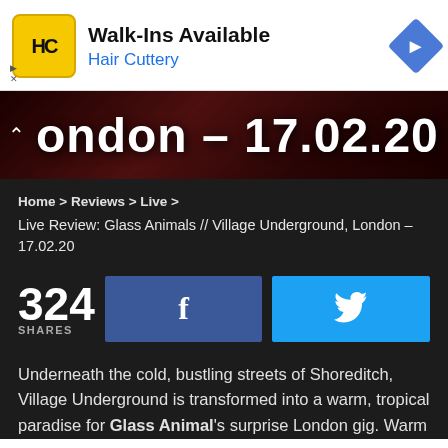[Figure (other): Advertisement banner for Hair Cuttery with yellow HC logo, blue navigation icon, text 'Walk-Ins Available' and 'Hair Cuttery']
[Figure (photo): Dark red hero image with white bold text reading 'London – 17.02.20' partially cut off on left]
Home > Reviews > Live >
Live Review: Glass Animals // Village Underground, London – 17.02.20
324 SHARES
Underneath the cold, bustling streets of Shoreditch, Village Underground is transformed into a warm, tropical paradise for Glass Animal's surprise London gig. Warm